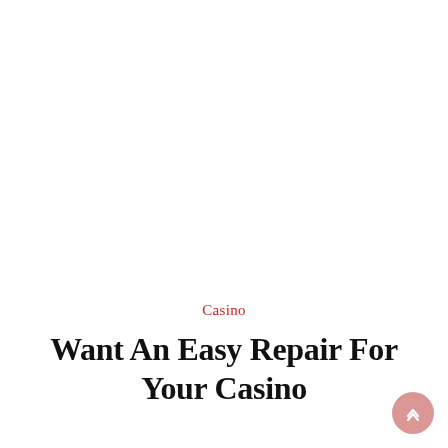Casino
Want An Easy Repair For Your Casino
July 18, 2021   By Admin
If you're busied with gambling, investing a growing number of time and cash on it, going after losses, or